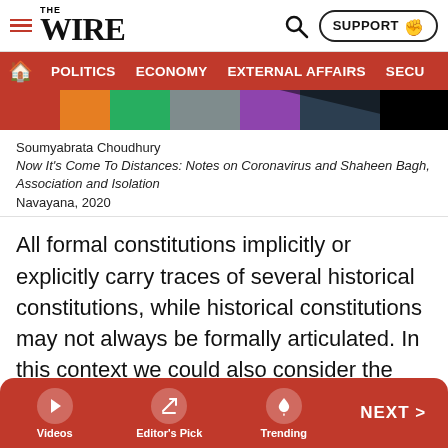THE WIRE — SUPPORT
POLITICS  ECONOMY  EXTERNAL AFFAIRS  SECU…
[Figure (illustration): Decorative colorful abstract image strip below navigation bar]
Soumyabrata Choudhury
Now It's Come To Distances: Notes on Coronavirus and Shaheen Bagh, Association and Isolation
Navayana, 2020
All formal constitutions implicitly or explicitly carry traces of several historical constitutions, while historical constitutions may not always be formally articulated. In this context we could also consider the ideological and political significance of this relationship. For example, in the Constitution of independent India we start with the universal principles of freedom and equality. However, in response to the factual recognition of the historical constitution of an unequal